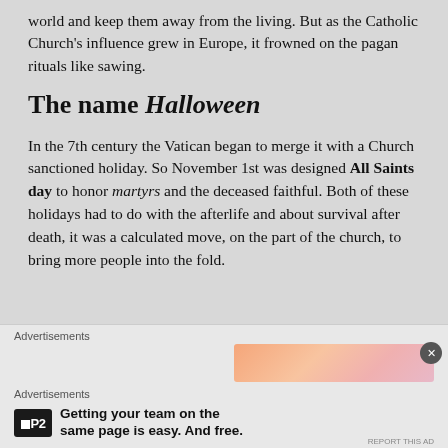world and keep them away from the living. But as the Catholic Church's influence grew in Europe, it frowned on the pagan rituals like sawing.
The name Halloween
In the 7th century the Vatican began to merge it with a Church sanctioned holiday. So November 1st was designed All Saints day to honor martyrs and the deceased faithful. Both of these holidays had to do with the afterlife and about survival after death, it was a calculated move, on the part of the church, to bring more people into the fold.
Advertisements
Advertisements
Getting your team on the same page is easy. And free.